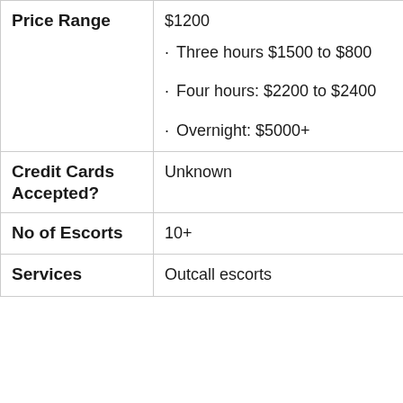| Field | Value |
| --- | --- |
| Price Range | $1200
· Three hours $1500 to $800
· Four hours: $2200 to $2400
· Overnight: $5000+ |
| Credit Cards Accepted? | Unknown |
| No of Escorts | 10+ |
| Services | Outcall escorts |